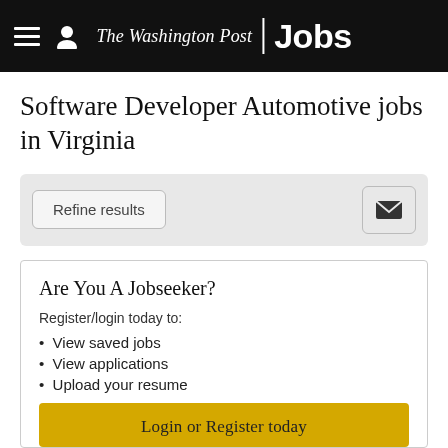The Washington Post Jobs
Software Developer Automotive jobs in Virginia
[Figure (screenshot): Filter bar with 'Refine results' button and envelope/mail icon button on a light grey background]
Are You A Jobseeker?
Register/login today to:
View saved jobs
View applications
Upload your resume
Login or Register today